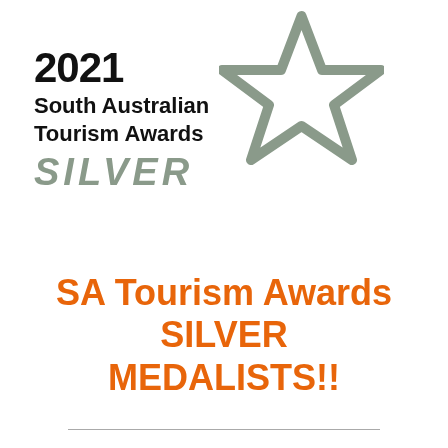[Figure (logo): 2021 South Australian Tourism Awards Silver logo with a grey star outline and the word SILVER in large grey italic letters]
SA Tourism Awards SILVER MEDALISTS!!